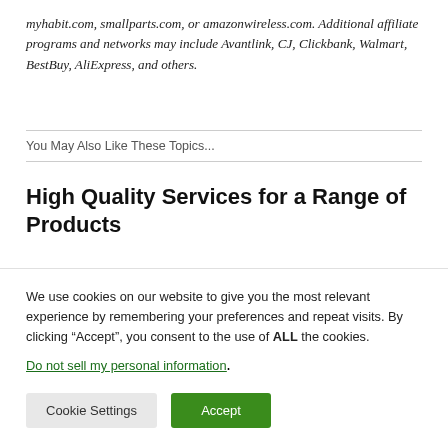myhabit.com, smallparts.com, or amazonwireless.com. Additional affiliate programs and networks may include Avantlink, CJ, Clickbank, Walmart, BestBuy, AliExpress, and others.
You May Also Like These Topics...
High Quality Services for a Range of Products
We use cookies on our website to give you the most relevant experience by remembering your preferences and repeat visits. By clicking “Accept”, you consent to the use of ALL the cookies.
Do not sell my personal information.